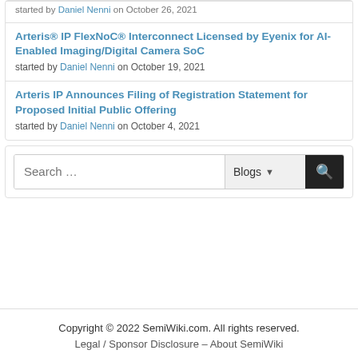started by Daniel Nenni on October 26, 2021
Arteris® IP FlexNoC® Interconnect Licensed by Eyenix for AI-Enabled Imaging/Digital Camera SoC
started by Daniel Nenni on October 19, 2021
Arteris IP Announces Filing of Registration Statement for Proposed Initial Public Offering
started by Daniel Nenni on October 4, 2021
Search ...
Copyright © 2022 SemiWiki.com. All rights reserved. Legal / Sponsor Disclosure – About SemiWiki